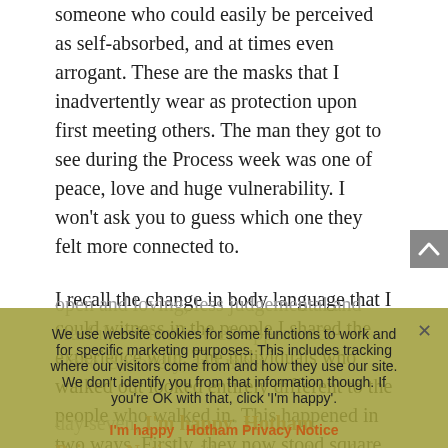someone who could easily be perceived as self-absorbed, and at times even arrogant. These are the masks that I inadvertently wear as protection upon first meeting others. The man they got to see during the Process week was one of peace, love and huge vulnerability. I won't ask you to guess which one they felt more connected to.
I recall the change in body language that I could witness in the people I shared the experience with. The individuals who walked out looked entirely different to the people who walked in. This happened in two ways. Firstly, they now stood square to the world – more open and loving, less judgemental and fearful, evident in their appearance alone. Secondly, and most...
We use website cookies for some functions to work and for specific marketing purposes. This includes tracking where our visitors come from and how they use our site. We don't identify you from that information though. If you're OK with that, click 'I'm happy'.
day seven, I'm happy; Hotham Privacy Notice with each member of my new family. I saw a smile on their face